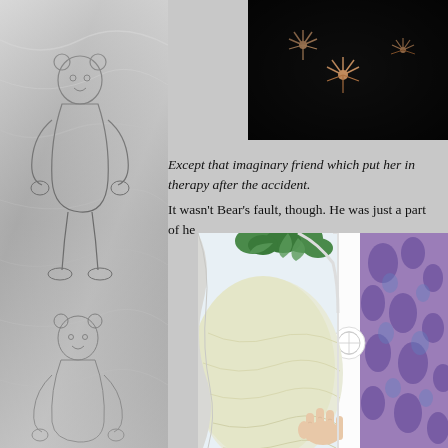[Figure (illustration): Grayscale left panel showing a line drawing of a simple humanoid figure (bear or character) against a silky/fabric textured background]
[Figure (photo): Dark background with small pink/orange star-shaped flowers, top right corner]
Except that imaginary friend which put her in therapy after the accident.
It wasn't Bear's fault, though. He was just a part of he
[Figure (illustration): Colorful room scene showing a pale yellow cushion or chair with green plants, a white arched doorway, and purple decorative wallpaper/tapestry with floral motifs; a hand is visible]